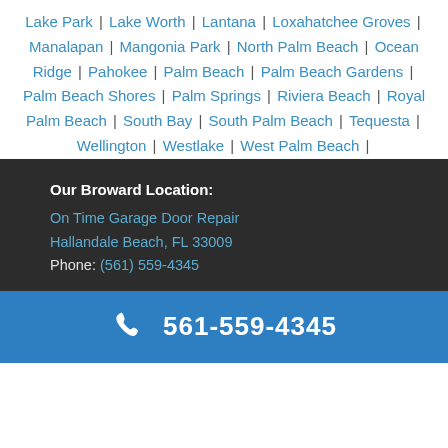Lake Park | Lake Worth | Lantana | Loxahatchee Groves | Manalapan | Mangonia Park | North Palm Beach | Ocean Ridge | Pahokee | Palm Beach | Palm Beach Gardens | Palm Beach Shores | Palm Springs | Riviera Beach | Royal Palm Beach | South Bay | South Palm Beach | Tequesta | Wellington | Westlake | West Palm Beach |
Our Broward Location: On Time Garage Door Repair Hallandale Beach, FL 33009 Phone: (561) 559-4345
561-559-4345